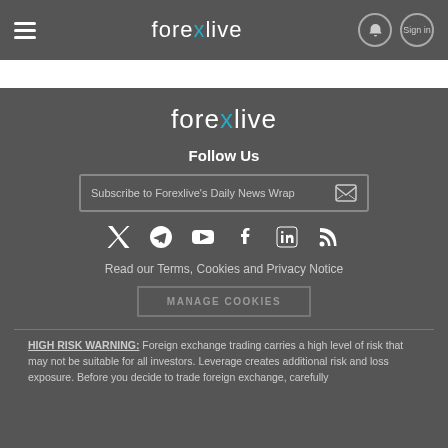forexlive
[Figure (logo): Forexlive logo in footer area]
Follow Us
Subscribe to Forexlive's Daily News Wrap
Read our Terms, Cookies and Privacy Notice
MANAGE COOKIES
HIGH RISK WARNING: Foreign exchange trading carries a high level of risk that may not be suitable for all investors. Leverage creates additional risk and loss exposure. Before you decide to trade foreign exchange, carefully